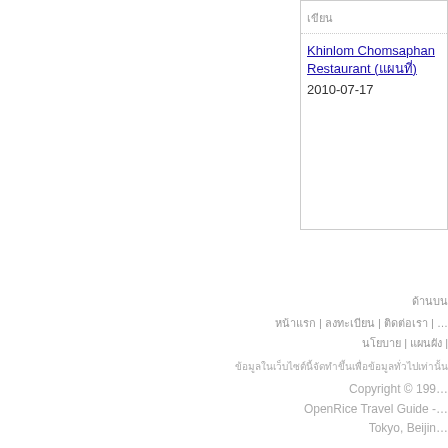| เขียน |
| --- |
| Khinlom Chomsaphan Restaurant (แผนที่) | 2010-07-17 |
ด้านบน
หน้าแรก | ลงทะเบียน | ติดต่อเรา | …
นโยบาย | แผนผัง |
ข้อมูลในเว็บไซต์นี้จัดทำขึ้นเพื่อข้อมูลทั่วไปเท่านั้น
Copyright © 199…
OpenRice Travel Guide -…
Tokyo, Beijin…